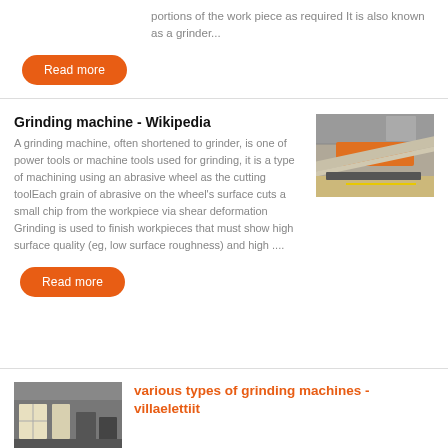portions of the work piece as required It is also known as a grinder...
Read more
Grinding machine - Wikipedia
A grinding machine, often shortened to grinder, is one of power tools or machine tools used for grinding, it is a type of machining using an abrasive wheel as the cutting toolEach grain of abrasive on the wheel's surface cuts a small chip from the workpiece via shear deformation Grinding is used to finish workpieces that must show high surface quality (eg, low surface roughness) and high ....
[Figure (photo): Photo of a grinding machine in an industrial facility, showing an orange/yellow machine with metal rails]
Read more
[Figure (photo): Photo of an industrial grinding machine facility interior]
various types of grinding machines - villaelettiit